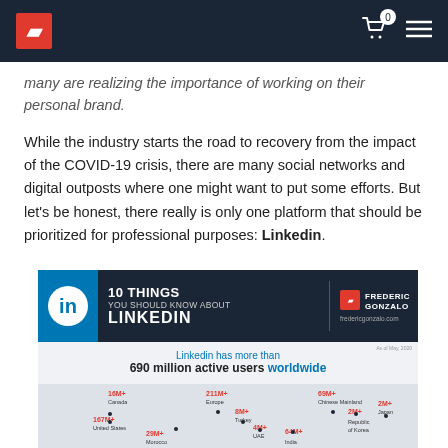Frederic Gonzalo blog header
many are realizing the importance of working on their personal brand.
While the industry starts the road to recovery from the impact of the COVID-19 crisis, there are many social networks and digital outposts where one might want to put some efforts. But let's be honest, there really is only one platform that should be prioritized for professional purposes: Linkedin.
[Figure (infographic): Infographic titled '10 Things You Should Know About LinkedIn' by Frederic Gonzalo (fredericgonzalo.com). Shows LinkedIn has more than 690 million active users worldwide, with a partial world map and regional statistics including 16M+ Canada, 167M+ United States, 29M+ Morocco, 21M+ Europe, 8M+ Turkey, 4M+ UAE, 69M+ Chinese Mainland, 2M+ Republic of Korea, 2M+ Japan, 64M+ India.]